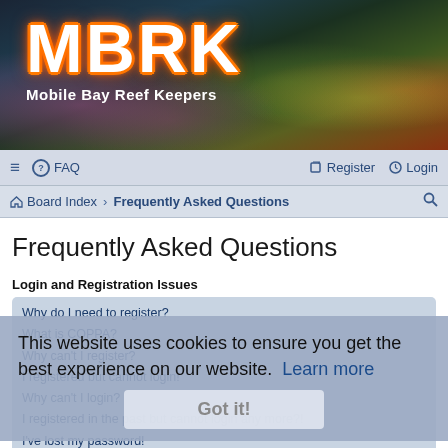[Figure (photo): MBRK Mobile Bay Reef Keepers website banner header with coral reef aquarium background photo. Large white text 'MBRK' with orange glow/outline, subtitle 'Mobile Bay Reef Keepers' below.]
≡  FAQ  Register  Login
Board Index › Frequently Asked Questions  🔍
Frequently Asked Questions
Login and Registration Issues
Why do I need to register?
What is COPPA?
Why can't I register?
I registered but cannot login!
Why can't I login?
I registered in the past but cannot login any more?!
I've lost my password!
Why do I get logged off automatically?
What does the "Delete cookies" do?
This website uses cookies to ensure you get the best experience on our website.  Learn more
Got it!